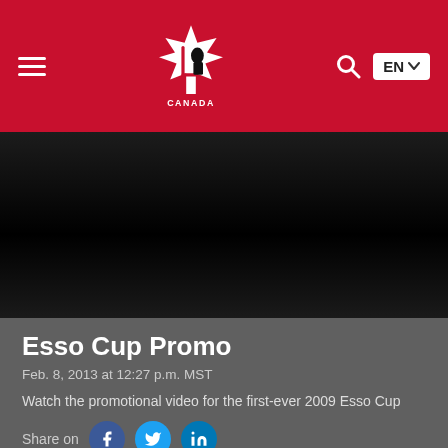Hockey Canada — EN
[Figure (screenshot): Dark video player area, blank/black screen]
Esso Cup Promo
Feb. 8, 2013 at 12:27 p.m. MST
Watch the promotional video for the first-ever 2009 Esso Cup
Share on